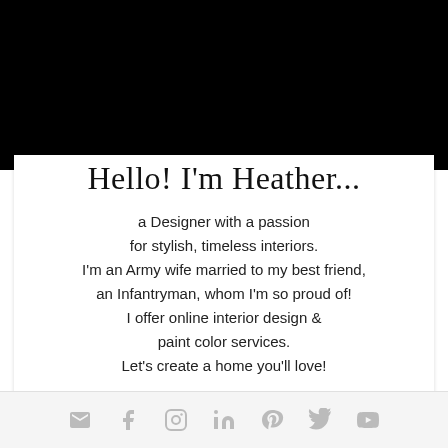[Figure (photo): Black banner/header image at top of page, partially showing a photo in the center bottom area]
Hello! I'm Heather...
a Designer with a passion
for stylish, timeless interiors.
I'm an Army wife married to my best friend,
an Infantryman, whom I'm so proud of!
I offer online interior design &
paint color services.
Let's create a home you'll love!
Social media icons: mail, facebook, instagram, linkedin, pinterest, twitter, youtube